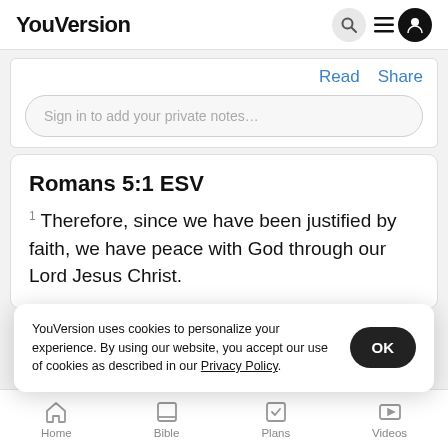YouVersion
Read   Share
Sign in to add your private notes…
Romans 5:1 ESV
1 Therefore, since we have been justified by faith, we have peace with God through our Lord Jesus Christ.
YouVersion uses cookies to personalize your experience. By using our website, you accept our use of cookies as described in our Privacy Policy.
Home   Bible   Plans   Videos